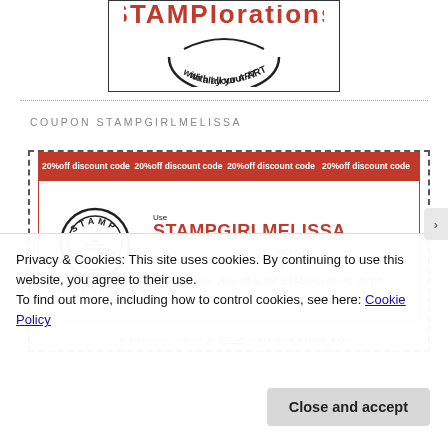[Figure (logo): STAMPlorations logo with curved text 'with all your ART']
COUPON STAMPGIRLMELISSA
[Figure (infographic): Coupon with red banner '20%off discount code 20%off discount code 20%off discount code 20%off discount code', STAMPlorations logo on left, code STAMPGIRLMELISSA on right, text 'at checkout & receive 20% off at the STAMPlorations shop!!', 'Use this discount code and get 20% off on all stamps, stencils, & dies']
Privacy & Cookies: This site uses cookies. By continuing to use this website, you agree to their use.
To find out more, including how to control cookies, see here: Cookie Policy
Close and accept